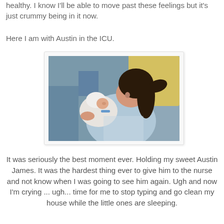healthy. I know I'll be able to move past these feelings but it's just crummy being in it now.
Here I am with Austin in the ICU.
[Figure (photo): A woman lying in a hospital bed holding a newborn baby in a white hat and blanket, in an ICU setting. Yellow pillow visible in background.]
It was seriously the best moment ever. Holding my sweet Austin James. It was the hardest thing ever to give him to the nurse and not know when I was going to see him again. Ugh and now I'm crying ... ugh... time for me to stop typing and go clean my house while the little ones are sleeping.